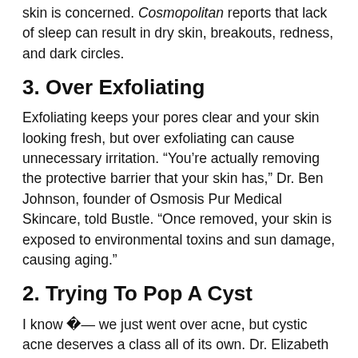skin is concerned. Cosmopolitan reports that lack of sleep can result in dry skin, breakouts, redness, and dark circles.
3. Over Exfoliating
Exfoliating keeps your pores clear and your skin looking fresh, but over exfoliating can cause unnecessary irritation. “You’re actually removing the protective barrier that your skin has,” Dr. Ben Johnson, founder of Osmosis Pur Medical Skincare, told Bustle. “Once removed, your skin is exposed to environmental toxins and sun damage, causing aging.”
2. Trying To Pop A Cyst
I know �— we just went over acne, but cystic acne deserves a class all of its own. Dr. Elizabeth L. Tanzi told Teen Vogue that cysts aren’t actually pustules at all,